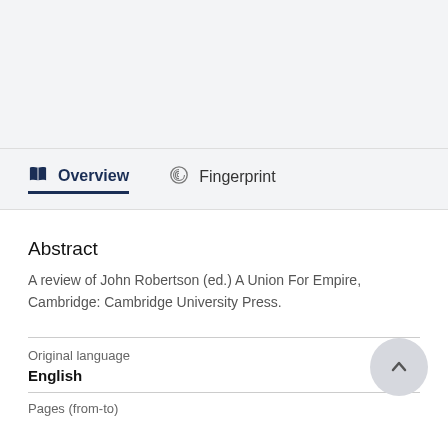[Figure (other): Gray header area placeholder at top of page]
Overview   Fingerprint
Abstract
A review of John Robertson (ed.) A Union For Empire, Cambridge: Cambridge University Press.
Original language
English
Pages (from-to)